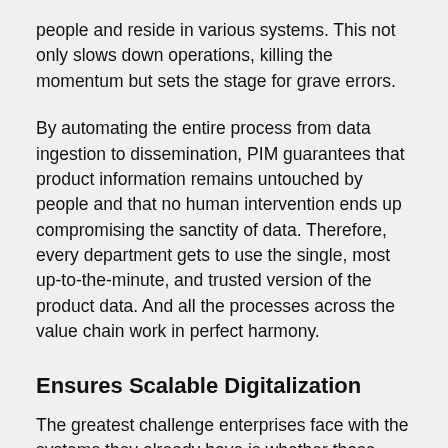people and reside in various systems. This not only slows down operations, killing the momentum but sets the stage for grave errors.
By automating the entire process from data ingestion to dissemination, PIM guarantees that product information remains untouched by people and that no human intervention ends up compromising the sanctity of data. Therefore, every department gets to use the single, most up-to-the-minute, and trusted version of the product data. And all the processes across the value chain work in perfect harmony.
Ensures Scalable Digitalization
The greatest challenge enterprises face with the systems they already have is whether those systems are